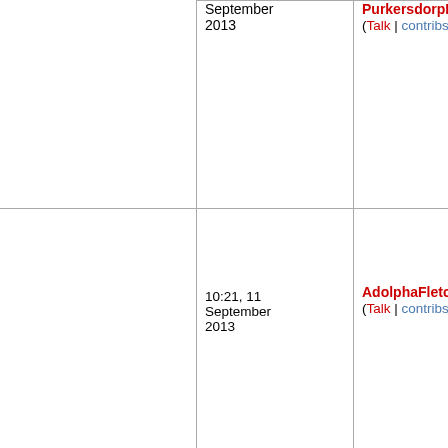|  | Date | User |
| --- | --- | --- |
|  | September 2013 | PurkersdorpP... (Talk | contribs) |
|  | 10:21, 11 September 2013 | AdolphaFletcher1 (Talk | contribs) |
|  | 10:21, 11 September 2013 | PurvisKnotts545 (Talk | contribs) |
|  | 10:20, 11 ... |  |